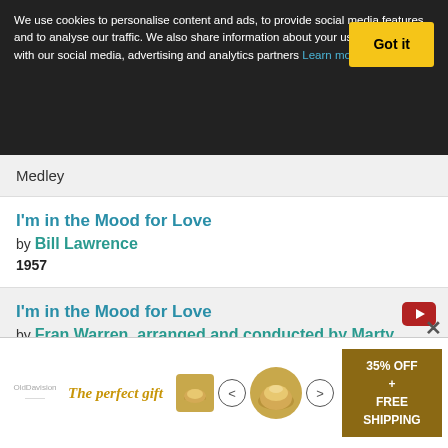We use cookies to personalise content and ads, to provide social media features and to analyse our traffic. We also share information about your use of our site with our social media, advertising and analytics partners Learn more
Medley
I'm in the Mood for Love
by Bill Lawrence
1957
I'm in the Mood for Love
by Fran Warren, arranged and conducted by Marty Paich
1957
I'm in the Mood for Love
by The McGuire Sisters
1957
The perfect gift   35% OFF + FREE SHIPPING